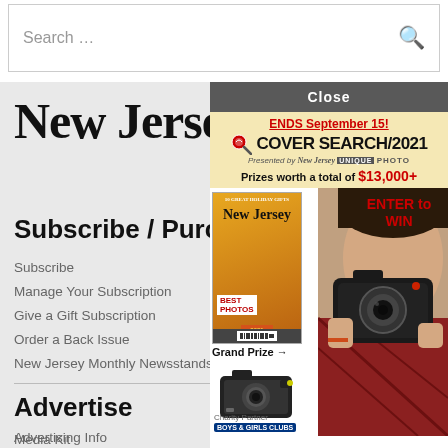[Figure (screenshot): Search bar with placeholder text 'Search ...' and a magnifying glass icon on the right]
[Figure (logo): New Jersey Monthly magazine logo in large serif black font with 'MONTHLY' in small caps below]
Subscribe / Purchase
Subscribe
Manage Your Subscription
Give a Gift Subscription
Order a Back Issue
New Jersey Monthly Newsstands
Advertise
Advertising Info
Media Kit
[Figure (advertisement): Cover Search 2021 advertisement popup with close button, 'ENDS September 15!' heading, cover search logo, prizes worth $13,000+, Enter to WIN text, NJ Monthly magazine cover, grand prize camera image, and Boys & Girls Clubs charity partner logo]